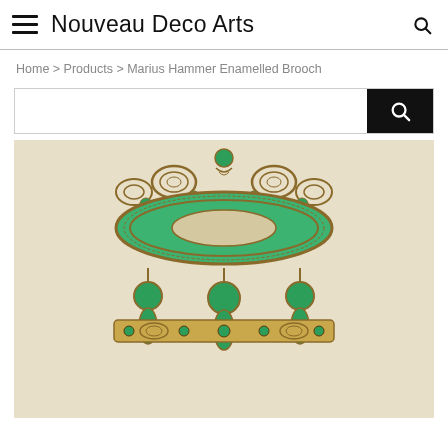Nouveau Deco Arts
Home > Products > Marius Hammer Enamelled Brooch
[Figure (photo): Close-up photograph of a Marius Hammer enamelled brooch featuring green enamel on a brass/bronze filigree setting, with ornate scrollwork crown at top, a large central oval green enamel element, and three pendant drops with round green cabochons and teardrop-shaped green enamel pieces hanging below.]